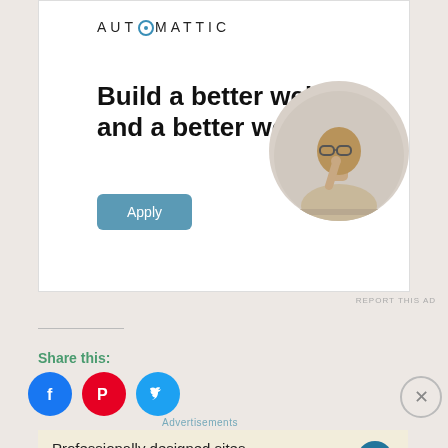[Figure (infographic): Automattic advertisement banner with logo, headline 'Build a better web and a better world.', Apply button, and circular photo of a man thinking at a desk]
REPORT THIS AD
Share this:
[Figure (infographic): Three circular social share icons: Facebook (blue), Pinterest (red), Twitter (light blue)]
Advertisements
[Figure (infographic): WordPress advertisement: 'Professionally designed sites in less than a week' with WordPress logo]
REPORT THIS AD